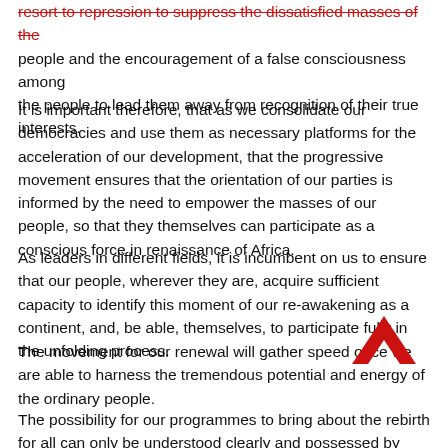resort to repression to suppress the dissatisfied masses of the people and the encouragement of a false consciousness among the people to lead them away from recognition of their true interests.
It is important therefore, that as we consolidate our democracies and use them as necessary platforms for the acceleration of our development, that the progressive movement ensures that the orientation of our parties is informed by the need to empower the masses of our people, so that they themselves can participate as a conscious force in renaissance of Africa.
As leaders in different fields, it is incumbent on us to ensure that our people, wherever they are, acquire sufficient capacity to identify this moment of our re-awakening as a continent, and, be able, themselves, to participate fully in the unfolding process.
The movement for our renewal will gather speed once we are able to harness the tremendous potential and energy of the ordinary people.
The possibility for our programmes to bring about the rebirth for all can only be understood clearly and possessed by those who